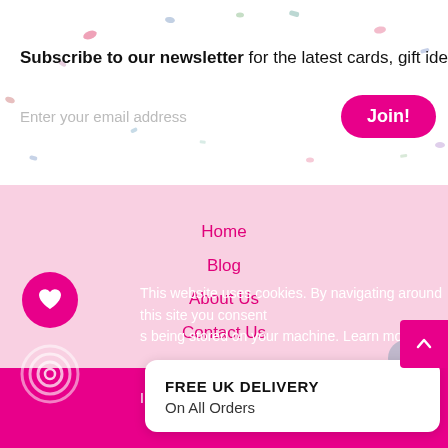Subscribe to our newsletter for the latest cards, gift idea
Enter your email address
Join!
Home
Blog
About Us
Contact Us
FREE UK DELIVERY
On All Orders
This website uses cookies. By navigating around this site you consent s being stored on your machine. Learn more
I understand, hide this